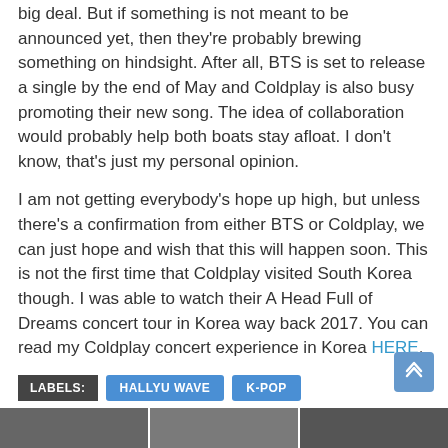big deal. But if something is not meant to be announced yet, then they're probably brewing something on hindsight. After all, BTS is set to release a single by the end of May and Coldplay is also busy promoting their new song. The idea of collaboration would probably help both boats stay afloat. I don't know, that's just my personal opinion.
I am not getting everybody's hope up high, but unless there's a confirmation from either BTS or Coldplay, we can just hope and wish that this will happen soon. This is not the first time that Coldplay visited South Korea though. I was able to watch their A Head Full of Dreams concert tour in Korea way back 2017. You can read my Coldplay concert experience in Korea HERE.
LABELS: HALLYU WAVE K-POP
SHARE: Facebook Twitter Google+ Pinterest WhatsApp
YOU MIGHT ALSO LIKE